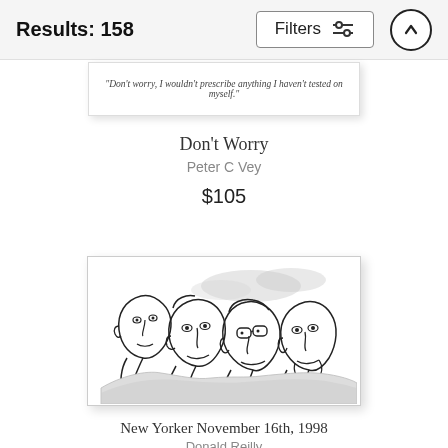Results: 158
Filters
[Figure (illustration): Partial view of a cartoon artwork card with italic text: "Don't worry, I wouldn't prescribe anything I haven't tested on myself."]
Don't Worry
Peter C Vey
$105
[Figure (illustration): Black and white ink sketch of four faces carved into a mountain, styled like Mount Rushmore, with expressive cartoon-style faces. Signed by artist.]
New Yorker November 16th, 1998
Donald Reilly